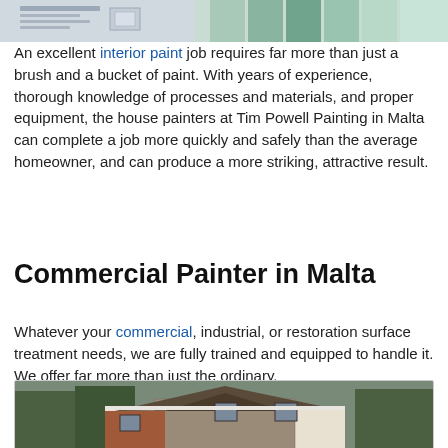[Figure (photo): Top partial image showing paint swatches and tools]
An excellent interior paint job requires far more than just a brush and a bucket of paint. With years of experience, thorough knowledge of processes and materials, and proper equipment, the house painters at Tim Powell Painting in Malta can complete a job more quickly and safely than the average homeowner, and can produce a more striking, attractive result.
Commercial Painter in Malta
Whatever your commercial, industrial, or restoration surface treatment needs, we are fully trained and equipped to handle it. We offer far more than just the ordinary.
[Figure (photo): Bottom partial image showing a large Tudor-style house with stone and brick exterior]